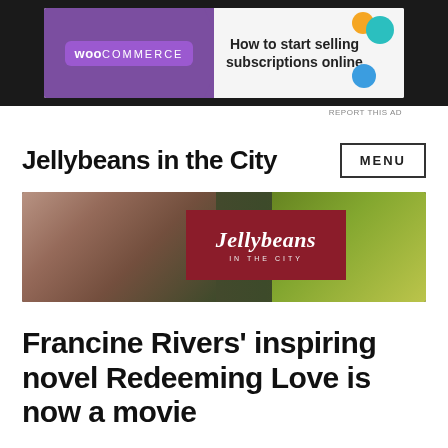[Figure (screenshot): WooCommerce banner advertisement: 'How to start selling subscriptions online' with purple background and decorative colored shapes]
REPORT THIS AD
Jellybeans in the City
[Figure (photo): Hero banner image showing a woman's face partially visible on the left, green succulent plants on the right, and a dark red/maroon box in the center with 'Jellybeans IN THE CITY' logo text in white script]
Francine Rivers' inspiring novel Redeeming Love is now a movie